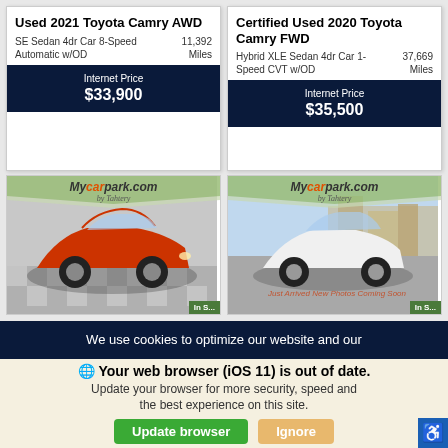Used 2021 Toyota Camry AWD
SE Sedan 4dr Car 8-Speed Automatic w/OD	11,392 Miles
Internet Price
$33,900
Certified Used 2020 Toyota Camry FWD
Hybrid XLE Sedan 4dr Car 1-Speed CVT w/OD	37,669 Miles
Internet Price
$35,500
[Figure (photo): Red Toyota Camry on a checkered floor showroom with Mycarpark.com watermark]
[Figure (photo): White Toyota Camry outdoors with Mycarpark.com watermark]
We use cookies to optimize our website and our
⊙ Your web browser (iOS 11) is out of date.
Update your browser for more security, speed and the best experience on this site.
Update browser
Ignore